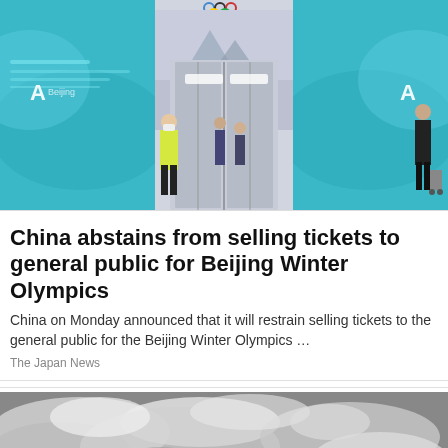[Figure (photo): Entrance of Beijing Winter Olympics venue with large revolving glass doors, Olympic rings logo visible above, people in masks and high-visibility jackets walking through, large decorative panels with blue/teal winter mountain imagery on sides]
China abstains from selling tickets to general public for Beijing Winter Olympics
China on Monday announced that it will restrain selling tickets to the general public for the Beijing Winter Olympics …
The Japan News
[Figure (photo): Black and white satellite or aerial image showing cloud formations and terrain, possibly a weather satellite view]